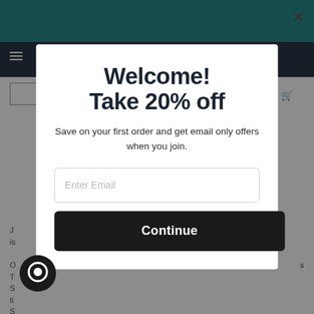[Figure (screenshot): Website background with teal header, dark navigation bar, search box, and partially visible article text, dimmed by modal overlay]
Welcome!
Take 20% off
Save on your first order and get email only offers when you join.
Enter Email
Continue